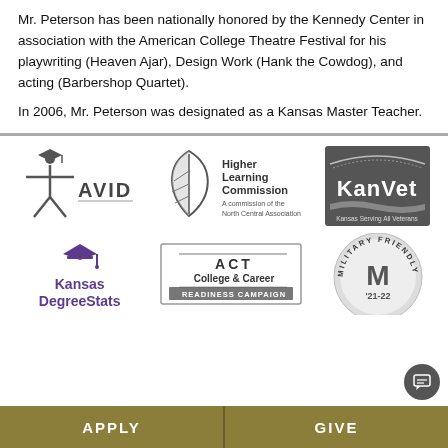Mr. Peterson has been nationally honored by the Kennedy Center in association with the American College Theatre Festival for his playwriting (Heaven Ajar), Design Work (Hank the Cowdog), and acting (Barbershop Quartet).
In 2006, Mr. Peterson was designated as a Kansas Master Teacher.
[Figure (logo): AVID logo with graduation cap figure]
[Figure (logo): Higher Learning Commission - A commission of the North Central Association logo with leaf]
[Figure (logo): KanVet - Kansas Serving All Veterans logo on dark background]
[Figure (logo): Kansas DegreeStats logo in purple with graduation cap]
[Figure (logo): ACT College & Career Readiness Campaign logo]
[Figure (logo): Military Friendly '21-22 badge/seal]
APPLY    GIVE